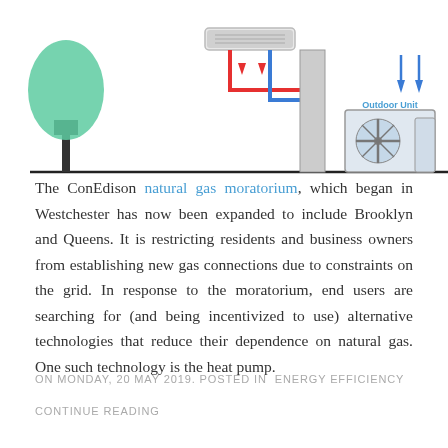[Figure (schematic): Diagram of a heat pump / HVAC system showing a tree on the left, an indoor unit with red and blue pipes in the center, red downward arrows indicating airflow, an outdoor unit on the right labeled 'Outdoor Unit', and blue downward arrows above the outdoor unit.]
The ConEdison natural gas moratorium, which began in Westchester has now been expanded to include Brooklyn and Queens. It is restricting residents and business owners from establishing new gas connections due to constraints on the grid. In response to the moratorium, end users are searching for (and being incentivized to use) alternative technologies that reduce their dependence on natural gas. One such technology is the heat pump.
ON MONDAY, 20 MAY 2019. POSTED IN ENERGY EFFICIENCY
CONTINUE READING